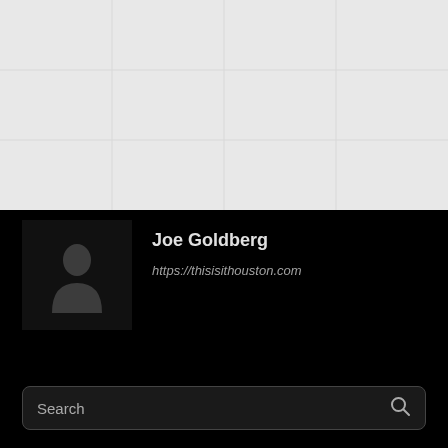[Figure (map): A light gray map area shown at the top of the page, appearing to be a blank or minimal map background.]
Joe Goldberg
https://thisisithouston.com
Search